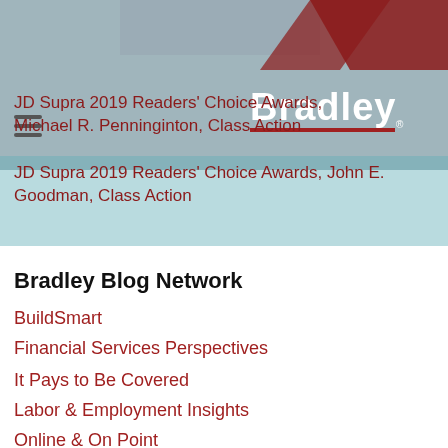[Figure (logo): Bradley law firm logo with decorative red and grey shapes at top]
JD Supra 2019 Readers' Choice Awards, Michael R. Penninginton, Class Action
JD Supra 2019 Readers' Choice Awards, John E. Goodman, Class Action
Bradley Blog Network
BuildSmart
Financial Services Perspectives
It Pays to Be Covered
Labor & Employment Insights
Online & On Point